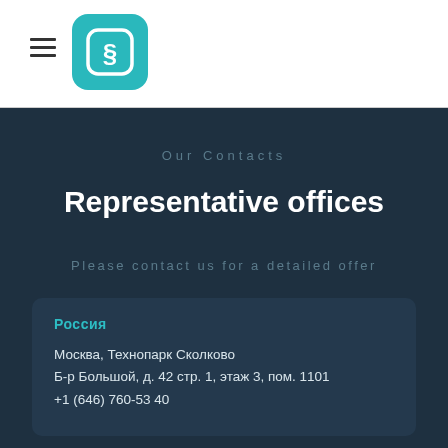Our Contacts
Representative offices
Please contact us for a detailed offer
Россия
Москва, Технопарк Сколково
Б-р Большой, д. 42 стр. 1, этаж 3, пом. 1101
+1 (646) 760-53 40